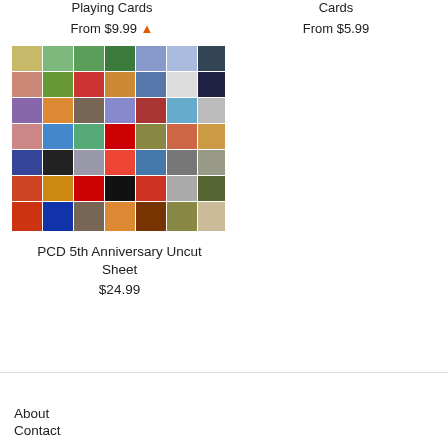Playing Cards
From $9.99 🔔
Cards
From $5.99
[Figure (photo): Grid of colorful playing card back designs arranged in a 7x7 collage]
PCD 5th Anniversary Uncut Sheet
$24.99
About
Contact